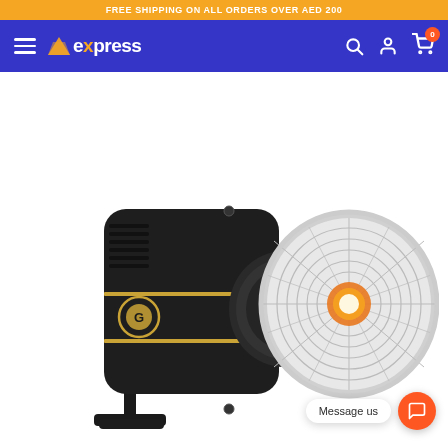FREE SHIPPING ON ALL ORDERS OVER AED 200
express — navigation bar with hamburger menu, logo, search, account, cart (0)
[Figure (photo): Godox professional LED continuous studio light/spotlight with a large reflector dish showing a honeycomb grid and COB LED element, black housing with gold accents and the Godox logo, mounted on a yoke/bracket stand]
Message us